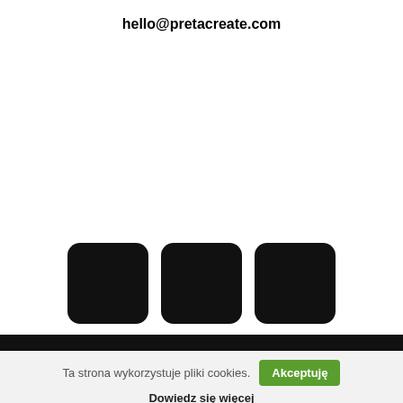hello@pretacreate.com
[Figure (other): Three black rounded square icons arranged horizontally in a row]
Ta strona wykorzystuje pliki cookies.
Akceptuję
Dowiedz się więcej